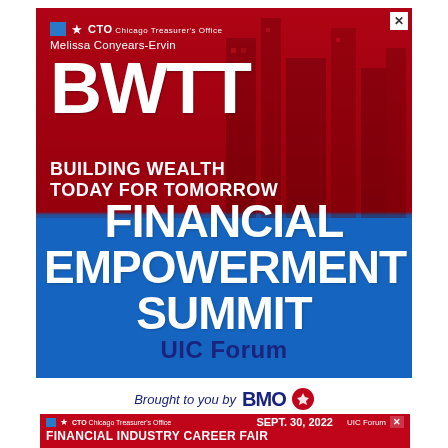[Figure (infographic): BWTT Building Wealth Today For Tomorrow Financial Empowerment Summit promotional banner by CTO Chicago Treasurer's Office, Melissa Conyears-Ervin. Red and blue background with city skyline. Features UIC Forum as venue. Close X button visible.]
Brought to you by BMO
[Figure (infographic): Financial Industry Career Fair banner - CTO Chicago Treasurer's Office, SEPT. 30, 2022, UIC Forum, red background with white text.]